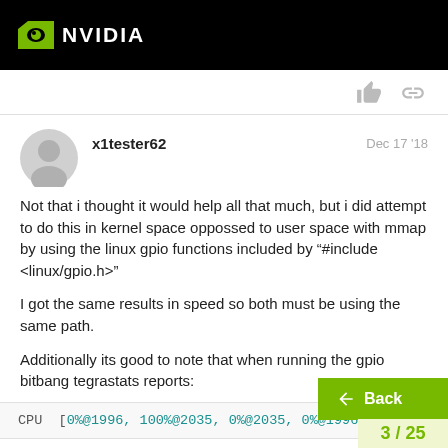NVIDIA
x1tester62
Dec 17 '18
Not that i thought it would help all that much, but i did attempt to do this in kernel space oppossed to user space with mmap by using the linux gpio functions included by "#include <linux/gpio.h>"
I got the same results in speed so both must be using the same path.
Additionally its good to note that when running the gpio bitbang tegrastats reports:
CPU  [0%@1996, 100%@2035, 0%@2035, 0%@1996, 0%@19
with that single core being used to the